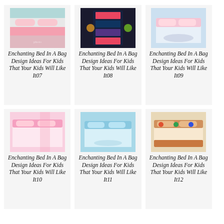[Figure (photo): Kids bed in a bag set with mint and pink colors]
Enchanting Bed In A Bag Design Ideas For Kids That Your Kids Will Like It07
[Figure (photo): Kids bed in a bag set with dark background and colorful pattern]
Enchanting Bed In A Bag Design Ideas For Kids That Your Kids Will Like It08
[Figure (photo): Kids bed in a bag set with light blue and floral pattern]
Enchanting Bed In A Bag Design Ideas For Kids That Your Kids Will Like It09
[Figure (photo): Kids bed in a bag set with pink floral pattern]
Enchanting Bed In A Bag Design Ideas For Kids That Your Kids Will Like It10
[Figure (photo): Kids bed in a bag set with teal and floral pattern]
Enchanting Bed In A Bag Design Ideas For Kids That Your Kids Will Like It11
[Figure (photo): Kids bed in a bag set with colorful cartoon pattern]
Enchanting Bed In A Bag Design Ideas For Kids That Your Kids Will Like It12